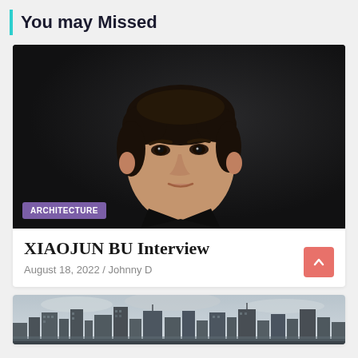You may Missed
[Figure (photo): Portrait photo of a young Asian man with dark hair wearing a black shirt, against a dark background. An 'ARCHITECTURE' purple badge is overlaid at the bottom left.]
XIAOJUN BU Interview
August 18, 2022 / Johnny D
[Figure (photo): Cityscape photo showing urban skyline with tall buildings under a cloudy sky.]